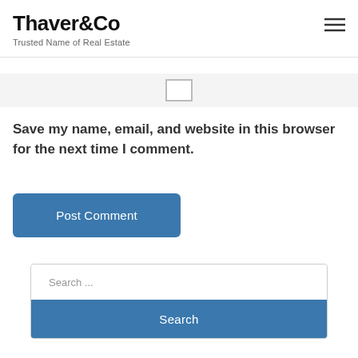Thaver&Co — Trusted Name of Real Estate
[Figure (other): Checkbox input element, unchecked]
Save my name, email, and website in this browser for the next time I comment.
Post Comment
Search ...
Search